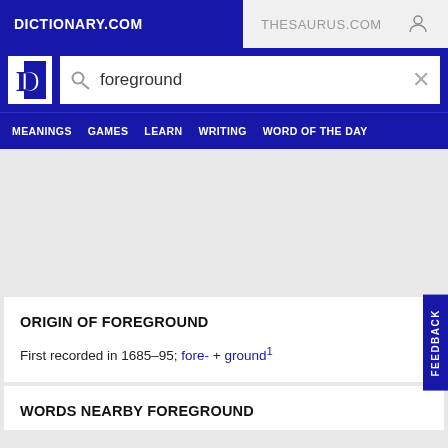DICTIONARY.COM | THESAURUS.COM
[Figure (screenshot): Dictionary.com logo and search bar with 'foreground' query]
MEANINGS  GAMES  LEARN  WRITING  WORD OF THE DAY
ORIGIN OF FOREGROUND
First recorded in 1685–95; fore- + ground¹
WORDS NEARBY FOREGROUND